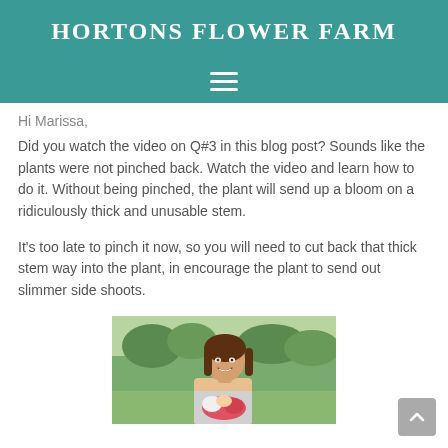HORTONS FLOWER FARM
[Figure (other): Hamburger menu icon (three horizontal white lines) on teal background]
Hi Marissa,
Did you watch the video on Q#3 in this blog post? Sounds like the plants were not pinched back. Watch the video and learn how to do it. Without being pinched, the plant will send up a bloom on a ridiculously thick and unusable stem.
It's too late to pinch it now, so you will need to cut back that thick stem way into the plant, in encourage the plant to send out slimmer side shoots.
[Figure (photo): Photo of a smiling woman with long dark hair holding a bouquet of flowers, outdoors with trees in background]